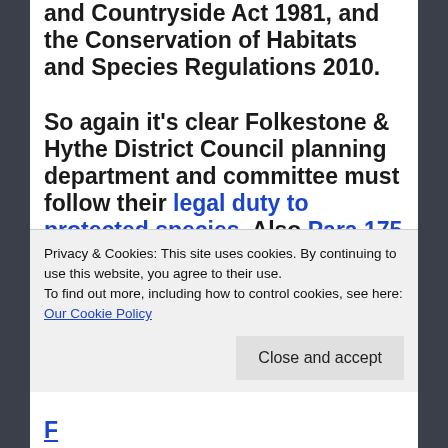and Countryside Act 1981, and the Conservation of Habitats and Species Regulations 2010.

So again it's clear Folkestone & Hythe District Council planning department and committee must follow their legal duty to protected species. Also Para 175 of the National Planning Policy Framework relates to...
Privacy & Cookies: This site uses cookies. By continuing to use this website, you agree to their use.
To find out more, including how to control cookies, see here: Our Cookie Policy
Close and accept